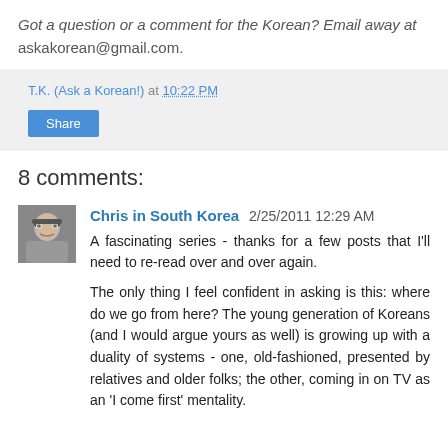Got a question or a comment for the Korean? Email away at askakorean@gmail.com.
T.K. (Ask a Korean!) at 10:22 PM
Share
8 comments:
Chris in South Korea 2/25/2011 12:29 AM
A fascinating series - thanks for a few posts that I'll need to re-read over and over again.

The only thing I feel confident in asking is this: where do we go from here? The young generation of Koreans (and I would argue yours as well) is growing up with a duality of systems - one, old-fashioned, presented by relatives and older folks; the other, coming in on TV as an 'I come first' mentality.